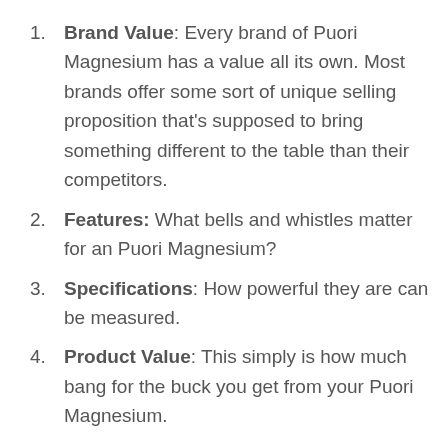Brand Value: Every brand of Puori Magnesium has a value all its own. Most brands offer some sort of unique selling proposition that's supposed to bring something different to the table than their competitors.
Features: What bells and whistles matter for an Puori Magnesium?
Specifications: How powerful they are can be measured.
Product Value: This simply is how much bang for the buck you get from your Puori Magnesium.
Customer Ratings: Number ratings grade